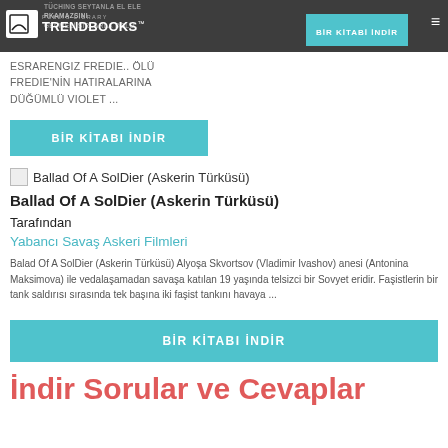Trendbooks Public Library
ESRARENGIZ FREDIE.. ÖLÜ FREDIE'NIN HATIRALARINA DÜĞÜMLÜ VIOLET ...
BİR KİTABI İNDİR
[Figure (other): Broken image placeholder for Ballad Of A SolDier (Askerin Türküsü) book cover]
Ballad Of A SolDier (Askerin Türküsü)
Tarafından
Yabancı Savaş Askeri Filmleri
Balad Of A SolDier (Askerin Türküsü) Alyoşa Skvortsov (Vladimir Ivashov) anesi (Antonina Maksimova) ile vedalaşamadan savaşa katılan 19 yaşında telsizci bir Sovyet eridir. Faşistlerin bir tank saldırısı sırasında tek başına iki faşist tankını havaya ...
BİR KİTABI İNDİR
İndir Sorular ve Cevaplar